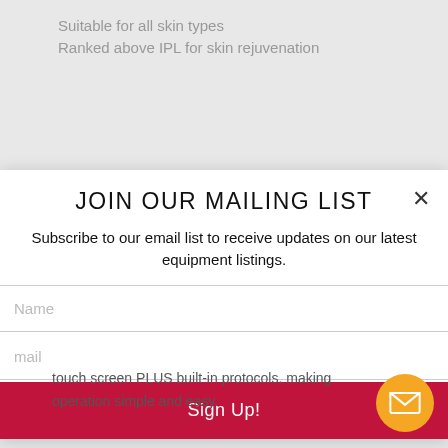Suitable for all skin types
Ranked above IPL for skin rejuvenation
JOIN OUR MAILING LIST
Subscribe to our email list to receive updates on our latest equipment listings.
Name
mail
Sign Up!
touch screen PLUS built-in protocols, making operation simple and easy.